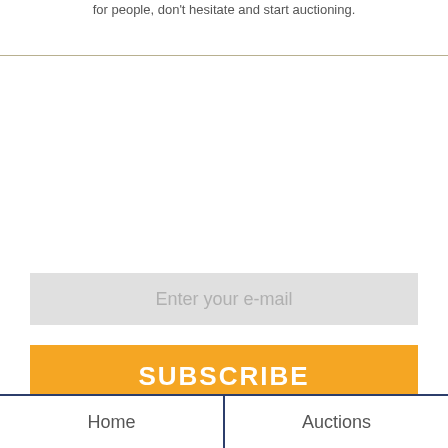for people, don't hesitate and start auctioning.
[Figure (screenshot): Email subscription form with a light gray input field labeled 'Enter your e-mail' and an orange SUBSCRIBE button below it.]
Home | Auctions